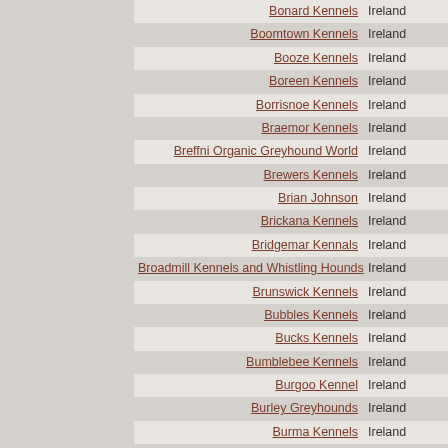| Name | Country |
| --- | --- |
| Bonard Kennels | Ireland |
| Boomtown Kennels | Ireland |
| Booze Kennels | Ireland |
| Boreen Kennels | Ireland |
| Borrisnoe Kennels | Ireland |
| Braemor Kennels | Ireland |
| Breffni Organic Greyhound World | Ireland |
| Brewers Kennels | Ireland |
| Brian Johnson | Ireland |
| Brickana Kennels | Ireland |
| Bridgemar Kennals | Ireland |
| Broadmill Kennels and Whistling Hounds | Ireland |
| Brunswick Kennels | Ireland |
| Bubbles Kennels | Ireland |
| Bucks Kennels | Ireland |
| Bumblebee Kennels | Ireland |
| Burgoo Kennel | Ireland |
| Burley Greyhounds | Ireland |
| Burma Kennels | Ireland |
| Cabra Kennels | Ireland |
| Caher Kennels | Ireland |
| CANYA Kennels | Ireland |
| Cara Ward West Kennells | Ireland |
| Carmac Kennels | Ireland |
| Carnaross | Ireland |
| Carrick Kennels Camlough | Ireland |